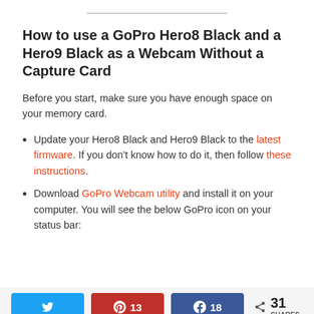How to use a GoPro Hero8 Black and a Hero9 Black as a Webcam Without a Capture Card
Before you start, make sure you have enough space on your memory card.
Update your Hero8 Black and Hero9 Black to the latest firmware. If you don't know how to do it, then follow these instructions.
Download GoPro Webcam utility and install it on your computer. You will see the below GoPro icon on your status bar:
Twitter share, Pinterest 13, Facebook 18, 31 SHARES